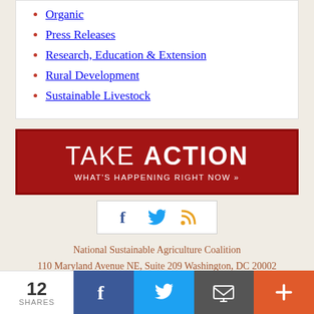Organic
Press Releases
Research, Education & Extension
Rural Development
Sustainable Livestock
[Figure (infographic): Red Take Action banner with text TAKE ACTION WHAT'S HAPPENING RIGHT NOW »]
[Figure (infographic): Social icons: Facebook, Twitter, RSS feed in white box]
National Sustainable Agriculture Coalition
110 Maryland Avenue NE, Suite 209 Washington, DC 20002
Contact Us
*IMPORTANT UPDATE: NSAC is currently...
[Figure (infographic): Share bar with 12 SHARES count, Facebook, Twitter, Email, and plus buttons]